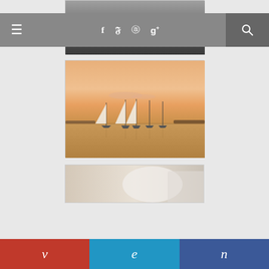[Figure (photo): Navigation bar with hamburger menu, social icons (f, t, pinterest, g+), and search icon on gray background]
[Figure (photo): Partial black and white photo of hands or cat, top of page]
[Figure (photo): Sunset scene with sailboats moored on calm water, warm orange-gold sky]
[Figure (photo): Partial photo of light-colored interior or desk scene, partially visible at bottom]
[Figure (other): Social sharing button bar with three buttons labeled v (red), e (blue), n (navy blue)]